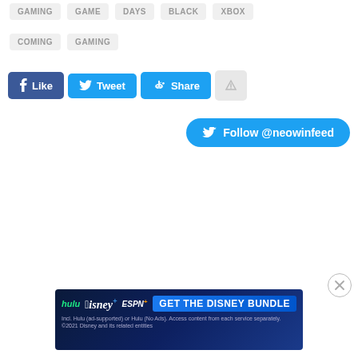GAMING
GAME
DAYS
BLACK
XBOX
COMING
GAMING
[Figure (other): Social share buttons: Facebook Like, Twitter Tweet, Reddit Share, and an alert button]
[Figure (other): Twitter Follow @neowinfeed button]
[Figure (other): Close (X) circle button]
[Figure (other): Disney Bundle advertisement banner with Hulu, Disney+, ESPN+ logos and GET THE DISNEY BUNDLE call to action]